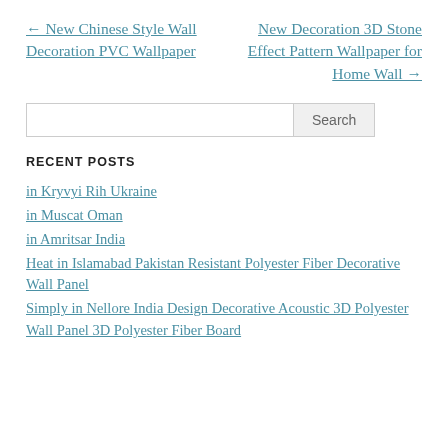← New Chinese Style Wall Decoration PVC Wallpaper
New Decoration 3D Stone Effect Pattern Wallpaper for Home Wall →
Search
RECENT POSTS
in Kryvyi Rih Ukraine
in Muscat Oman
in Amritsar India
Heat in Islamabad Pakistan Resistant Polyester Fiber Decorative Wall Panel
Simply in Nellore India Design Decorative Acoustic 3D Polyester Wall Panel 3D Polyester Fiber Board